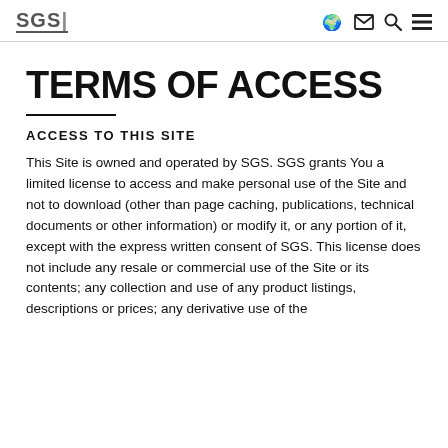SGS [navigation icons: globe, mail, search, menu]
TERMS OF ACCESS
ACCESS TO THIS SITE
This Site is owned and operated by SGS. SGS grants You a limited license to access and make personal use of the Site and not to download (other than page caching, publications, technical documents or other information) or modify it, or any portion of it, except with the express written consent of SGS. This license does not include any resale or commercial use of the Site or its contents; any collection and use of any product listings, descriptions or prices; any derivative use of the